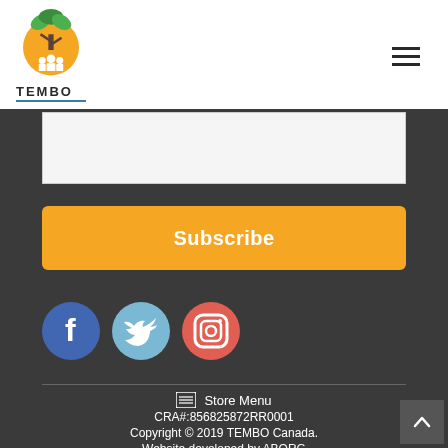[Figure (logo): TEMBO logo with orange circle, tree illustration, and green leaves on top. Text 'TEMBO' below with underline.]
[Figure (illustration): Hamburger menu icon (three horizontal lines) in top right corner]
Subscribe
[Figure (illustration): Three social media icons: Facebook (blue circle with f), Twitter (light blue circle with bird), Instagram (red-orange circle with camera)]
☰ Store Menu
CRA#:856825872RR0001
Copyright © 2019 TEMBO Canada.
Website developed by ABORG